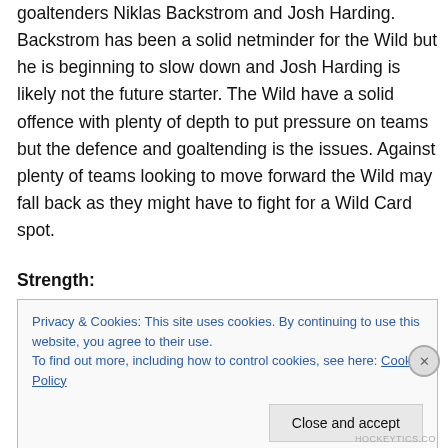goaltenders Niklas Backstrom and Josh Harding. Backstrom has been a solid netminder for the Wild but he is beginning to slow down and Josh Harding is likely not the future starter. The Wild have a solid offence with plenty of depth to put pressure on teams but the defence and goaltending is the issues. Against plenty of teams looking to move forward the Wild may fall back as they might have to fight for a Wild Card spot.
Strength:
Privacy & Cookies: This site uses cookies. By continuing to use this website, you agree to their use. To find out more, including how to control cookies, see here: Cookie Policy